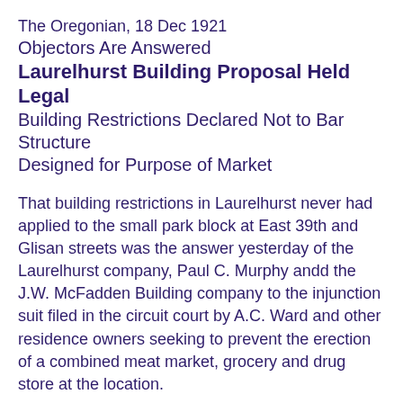The Oregonian, 18 Dec 1921
Objectors Are Answered
Laurelhurst Building Proposal Held Legal
Building Restrictions Declared Not to Bar Structure Designed for Purpose of Market
That building restrictions in Laurelhurst never had applied to the small park block at East 39th and Glisan streets was the answer yesterday of the Laurelhurst company, Paul C. Murphy andd the J.W. McFadden Building company to the injunction suit filed in the circuit court by A.C. Ward and other residence owners seeking to prevent the erection of a combined meat market, grocery and drug store at the location.
It is further asserted that the companies planning to erect such a building--which, it is claimed, would have all the artistic appearance of a private residence--are financially interested in maintaining the "class" of the residential district to a far greater extent than any of the petitioners.
Up to November 28 last the Laurelhurst company